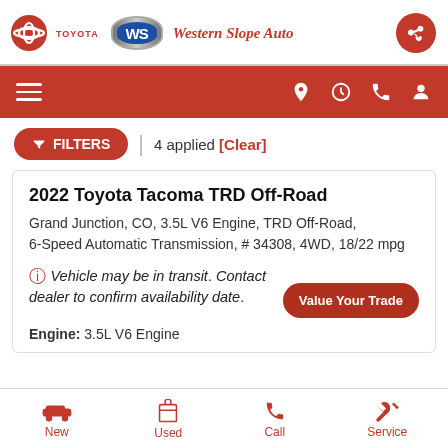Western Slope Auto – Toyota dealer header
[Figure (logo): Toyota logo and Western Slope Auto logo with WS badge]
[Figure (screenshot): Navigation bar with hamburger menu and icons for location, hours, phone, account]
FILTERS | 4 applied [Clear]
2022 Toyota Tacoma TRD Off-Road
Grand Junction, CO, 3.5L V6 Engine, TRD Off-Road, 6-Speed Automatic Transmission, # 34308, 4WD, 18/22 mpg
Vehicle may be in transit. Contact dealer to confirm availability date.
Engine: 3.5L V6 Engine
New | Used | Call | Service